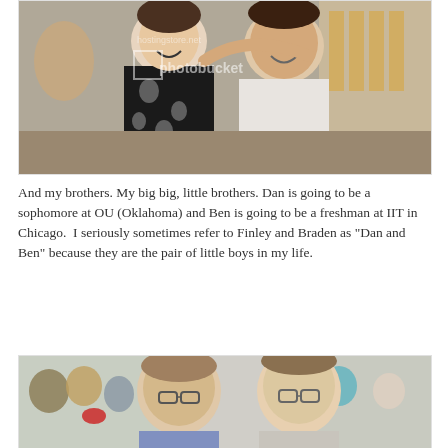[Figure (photo): A smiling woman in a black and white floral dress with her arm around a smiling man in a white dress shirt, at what appears to be an indoor event or wedding reception with chairs visible in the background. A photobucket watermark is visible.]
And my brothers. My big big, little brothers. Dan is going to be a sophomore at OU (Oklahoma) and Ben is going to be a freshman at IIT in Chicago.  I seriously sometimes refer to Finley and Braden as "Dan and Ben" because they are the pair of little boys in my life.
[Figure (photo): Two young men wearing glasses seated at a table at an event or wedding reception. Other guests are visible in the background.]